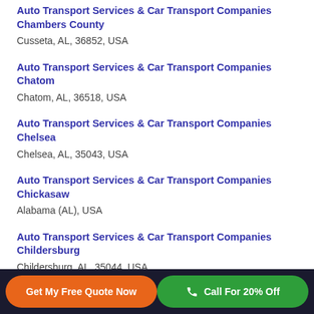Auto Transport Services & Car Transport Companies Chambers County
Cusseta, AL, 36852, USA
Auto Transport Services & Car Transport Companies Chatom
Chatom, AL, 36518, USA
Auto Transport Services & Car Transport Companies Chelsea
Chelsea, AL, 35043, USA
Auto Transport Services & Car Transport Companies Chickasaw
Alabama (AL), USA
Auto Transport Services & Car Transport Companies Childersburg
Childersburg, AL, 35044, USA
Get My Free Quote Now | Call For 20% Off